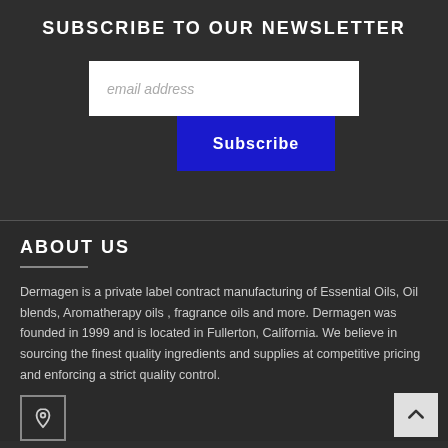SUBSCRIBE TO OUR NEWSLETTER
email address
Subscribe
ABOUT US
Dermagen is a private label contract manufacturing of Essential Oils, Oil blends, Aromatherapy oils , fragrance oils and more. Dermagen was founded in 1999 and is located in Fullerton, California. We believe in sourcing the finest quality ingredients and supplies at competitive pricing and enforcing a strict quality control.